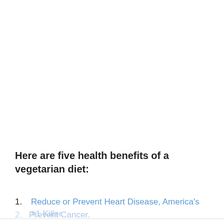Here are five health benefits of a vegetarian diet:
1. Reduce or Prevent Heart Disease, America's #1 Killer.
2. Prevent Cancer.